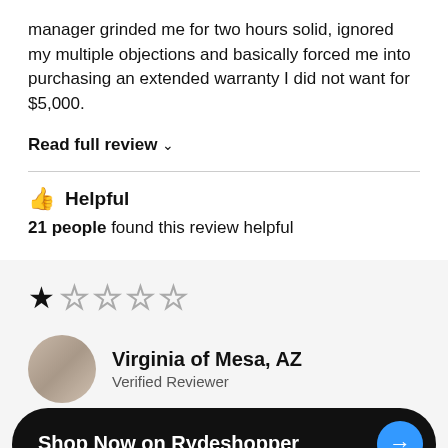manager grinded me for two hours solid, ignored my multiple objections and basically forced me into purchasing an extended warranty I did not want for $5,000.
Read full review ∨
👍 Helpful
21 people found this review helpful
[Figure (other): 1 out of 5 stars rating — one filled star and four empty stars]
Virginia of Mesa, AZ — Verified Reviewer
Shop Now on Rydeshopper →